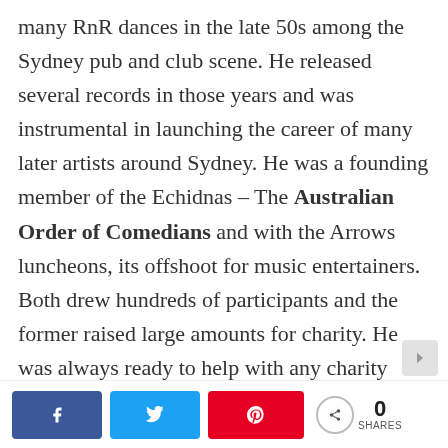many RnR dances in the late 50s among the Sydney pub and club scene. He released several records in those years and was instrumental in launching the career of many later artists around Sydney. He was a founding member of the Echidnas – The Australian Order of Comedians and with the Arrows luncheons, its offshoot for music entertainers. Both drew hundreds of participants and the former raised large amounts for charity. He was always ready to help with any charity fundraising events, charities and Aussie entertainment promotions around Australia